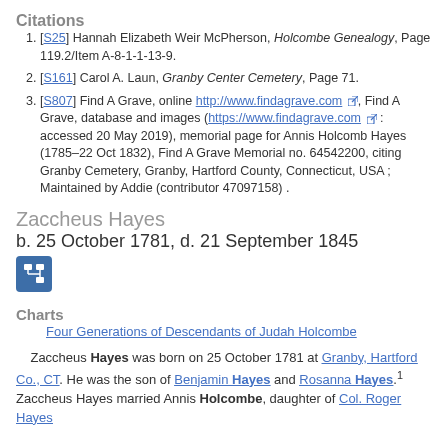Citations
[S25] Hannah Elizabeth Weir McPherson, Holcombe Genealogy, Page 119.2/Item A-8-1-1-13-9.
[S161] Carol A. Laun, Granby Center Cemetery, Page 71.
[S807] Find A Grave, online http://www.findagrave.com, Find A Grave, database and images (https://www.findagrave.com : accessed 20 May 2019), memorial page for Annis Holcomb Hayes (1785–22 Oct 1832), Find A Grave Memorial no. 64542200, citing Granby Cemetery, Granby, Hartford County, Connecticut, USA ; Maintained by Addie (contributor 47097158) .
Zaccheus Hayes
b. 25 October 1781, d. 21 September 1845
Charts
Four Generations of Descendants of Judah Holcombe
Zaccheus Hayes was born on 25 October 1781 at Granby, Hartford Co., CT. He was the son of Benjamin Hayes and Rosanna Hayes.¹ Zaccheus Hayes married Annis Holcombe, daughter of Col. Roger Hayes